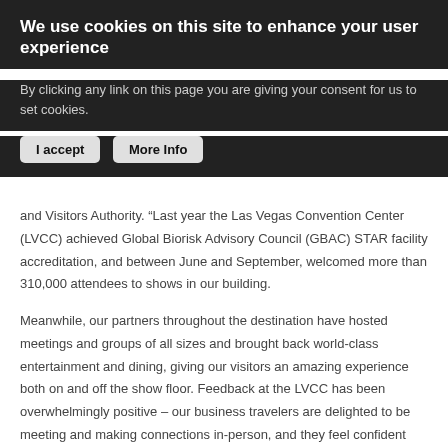We use cookies on this site to enhance your user experience
By clicking any link on this page you are giving your consent for us to set cookies.
I accept   More Info
and Visitors Authority. “Last year the Las Vegas Convention Center (LVCC) achieved Global Biorisk Advisory Council (GBAC) STAR facility accreditation, and between June and September, welcomed more than 310,000 attendees to shows in our building.
Meanwhile, our partners throughout the destination have hosted meetings and groups of all sizes and brought back world-class entertainment and dining, giving our visitors an amazing experience both on and off the show floor. Feedback at the LVCC has been overwhelmingly positive – our business travelers are delighted to be meeting and making connections in-person, and they feel confident about wellness measures throughout the destination."
The trade show industry has responded to the pandemic challenge with a powerful joint approach to make events safe. Earlier this year, several of the world’s largest event rental...